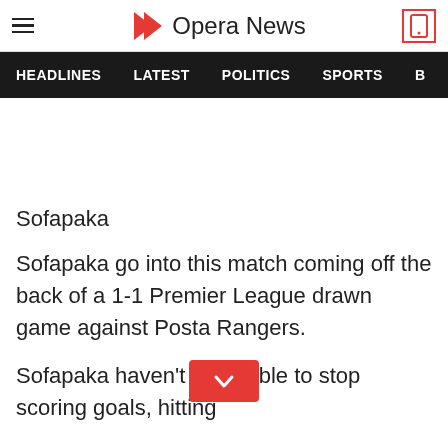Opera News
HEADLINES  LATEST  POLITICS  SPORTS  B
Sofapaka
Sofapaka go into this match coming off the back of a 1-1 Premier League drawn game against Posta Rangers.
Sofapaka haven't been able to stop scoring goals, hitting